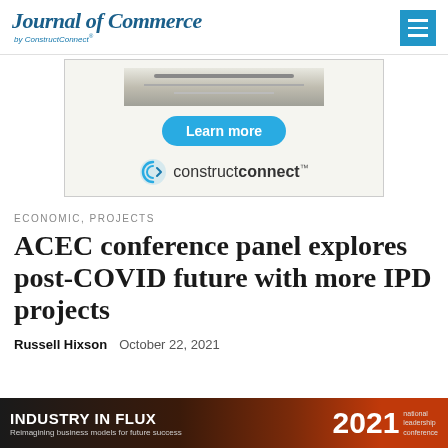Journal of Commerce by ConstructConnect
[Figure (screenshot): ConstructConnect advertisement with 'Learn more' button and constructconnect logo]
ECONOMIC, PROJECTS
ACEC conference panel explores post-COVID future with more IPD projects
Russell Hixson   October 22, 2021
[Figure (illustration): Industry in Flux - Reimagining business models for future success - 2021 national leadership conference banner]